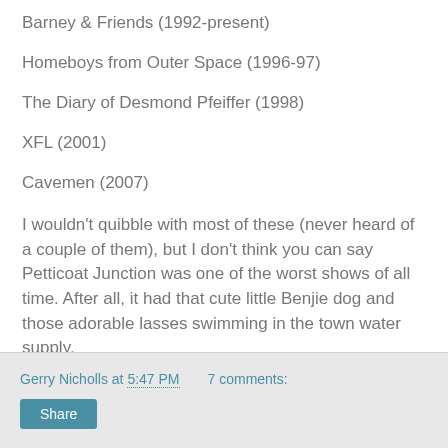Barney & Friends (1992-present)
Homeboys from Outer Space (1996-97)
The Diary of Desmond Pfeiffer (1998)
XFL (2001)
Cavemen (2007)
I wouldn't quibble with most of these (never heard of a couple of them), but I don't think you can say Petticoat Junction was one of the worst shows of all time. After all, it had that cute little Benjie dog and those adorable lasses swimming in the town water supply.
And hey, bashing Barney! How cynical can you get.
Gerry Nicholls at 5:47 PM   7 comments:   Share